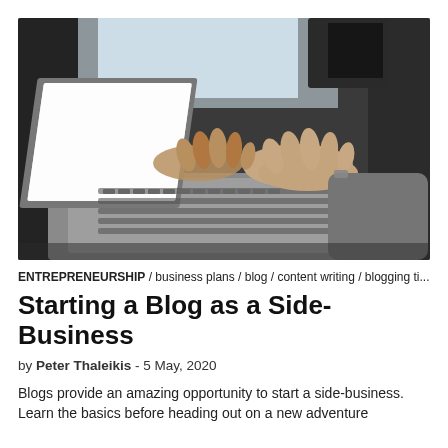[Figure (photo): Close-up photograph of a person's hands typing on a laptop keyboard, with a monitor visible in the blurred background. Dark desk environment.]
ENTREPRENEURSHIP / business plans / blog / content writing / blogging ti...
Starting a Blog as a Side-Business
by Peter Thaleikis - 5 May, 2020
Blogs provide an amazing opportunity to start a side-business. Learn the basics before heading out on a new adventure